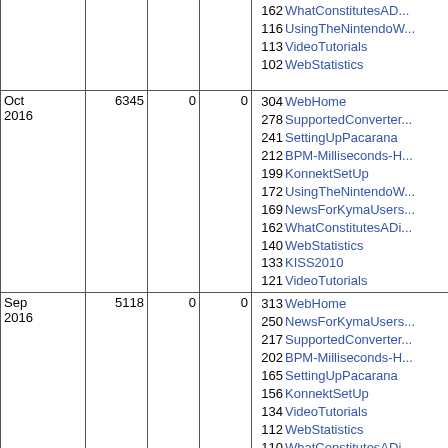| Date | Total | Col3 | Col4 | Top Pages |
| --- | --- | --- | --- | --- |
|  |  |  |  | 162 WhatConstitutesAD...
116 UsingTheNintendoW...
113 VideoTutorials
102 WebStatistics |
| Oct 2016 | 6345 | 0 | 0 | 304 WebHome
278 SupportedConverter...
241 SettingUpPacarana
212 BPM-Milliseconds-H...
199 KonnektSetUp
172 UsingTheNintendoW...
169 NewsForKymaUsers...
162 WhatConstitutesADi...
140 WebStatistics
133 KISS2010
121 VideoTutorials |
| Sep 2016 | 5118 | 0 | 0 | 313 WebHome
250 NewsForKymaUsers...
217 SupportedConverter...
202 BPM-Milliseconds-H...
165 SettingUpPacarana
156 KonnektSetUp
134 VideoTutorials
112 WebStatistics
110 WhatConstitutesADi...
103 UsingTheNintendoW...
92 UsingKymaWithOthe... |
| Aug 2016 | 6139 | 0 | 0 | 445 WebHome
261 SupportedConverter...
231 NewsForKymaUsers...
201 WebStatistics
178 SettingUpPacarana
167 KonnektSetUp
162 BPM-Milliseconds-H...
136 UsingTheNintendoW...
127 VideoTutorials
127 UsingKymaWithOthe...
112 OpenSoundControl... |